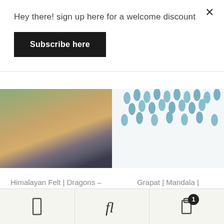Hey there! sign up here for a welcome discount
Subscribe here
[Figure (photo): Photo of Himalayan felt dragon toys on a wooden surface]
[Figure (photo): Photo of Grapat Mandala Snowflakes - teal/blue teardrop shaped pieces arranged on white background]
Himalayan Felt | Dragons – mix colours
Grapat | Mandala | Snowflakes NEW 2021!
🔔  Shipping FREE over $200 (Shipping is halved for carts over $100!)
Dismiss